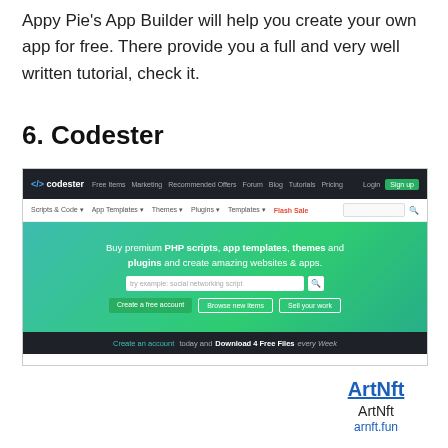Appy Pie's App Builder will help you create your own app for free. There provide you a full and very well written tutorial, check it.
6. Codester
[Figure (screenshot): Screenshot of the Codester website showing the navigation bar, hero section with text 'Buy premium PHP scripts, app templates, themes and plugins and create amazing websites & apps.', search bar, action buttons (Create a free account, Browse new items, Sell your work), and a footer bar saying 'Create an account today and Download 4 Free Files every Week'.]
ArtNft
ArtNft
arnft.fun